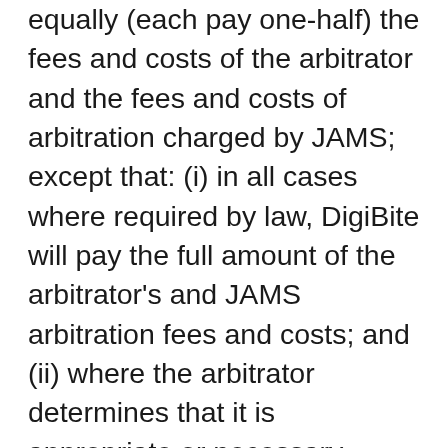equally (each pay one-half) the fees and costs of the arbitrator and the fees and costs of arbitration charged by JAMS; except that: (i) in all cases where required by law, DigiBite will pay the full amount of the arbitrator's and JAMS arbitration fees and costs; and (ii) where the arbitrator determines that it is appropriate or necessary based on your financial resources, DigiBite shall pay more than one-half, in an amount to be determined by the arbitrator as fair and equitable. Each party shall bear the cost of his/her/their/its own legal fees and